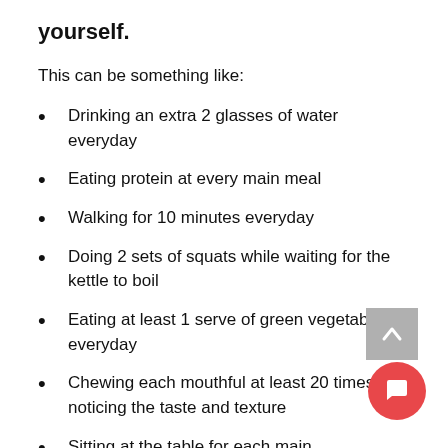yourself.
This can be something like:
Drinking an extra 2 glasses of water everyday
Eating protein at every main meal
Walking for 10 minutes everyday
Doing 2 sets of squats while waiting for the kettle to boil
Eating at least 1 serve of green vegetables everyday
Chewing each mouthful at least 20 times and noticing the taste and texture
Sitting at the table for each main